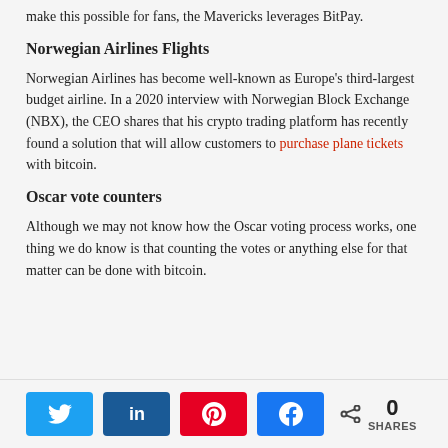make this possible for fans, the Mavericks leverages BitPay.
Norwegian Airlines Flights
Norwegian Airlines has become well-known as Europe's third-largest budget airline. In a 2020 interview with Norwegian Block Exchange (NBX), the CEO shares that his crypto trading platform has recently found a solution that will allow customers to purchase plane tickets with bitcoin.
Oscar vote counters
Although we may not know how the Oscar voting process works, one thing we do know is that counting the votes or anything else for that matter can be done with bitcoin.
Social share buttons: Twitter, LinkedIn, Pinterest, Facebook — 0 SHARES